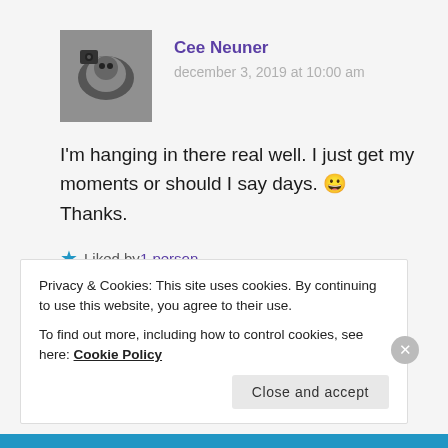Cee Neuner
december 3, 2019 at 10:00 am
I'm hanging in there real well. I just get my moments or should I say days. 😀 Thanks.
Liked by 1 person
Log in to Reply
Privacy & Cookies: This site uses cookies. By continuing to use this website, you agree to their use.
To find out more, including how to control cookies, see here: Cookie Policy
Close and accept